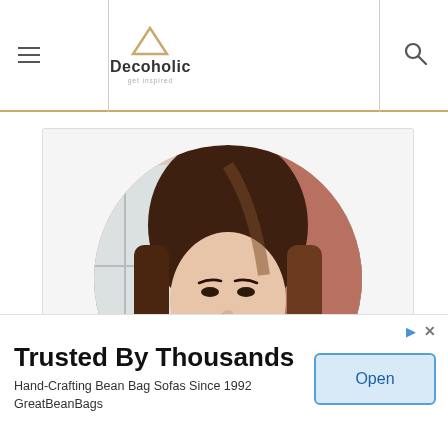Decoholic
[Figure (photo): Circular profile photo of a woman with long brown hair, wearing a black turtleneck, photographed against a brick wall background with natural light]
Trusted By Thousands
Hand-Crafting Bean Bag Sofas Since 1992
GreatBeanBags